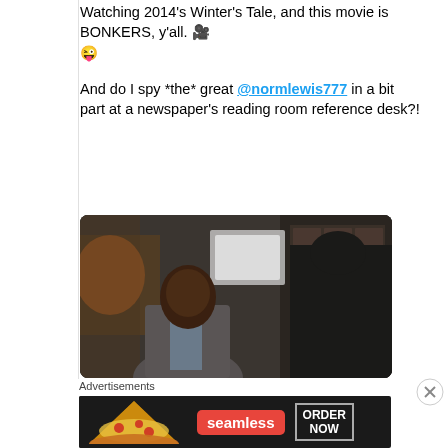Watching 2014's Winter's Tale, and this movie is BONKERS, y'all. 🎥 😜
And do I spy *the* great @normlewis777 in a bit part at a newspaper's reading room reference desk?!
[Figure (photo): Movie still showing two men in conversation in what appears to be a newspaper reading room or library setting. One man (Black, wearing a grey blazer) faces the camera; the other (back to camera, dark jacket) is across from him.]
Advertisements
[Figure (photo): Seamless food delivery advertisement banner showing pizza on the left, the Seamless logo in red, and an 'ORDER NOW' button on the right, all on a dark background.]